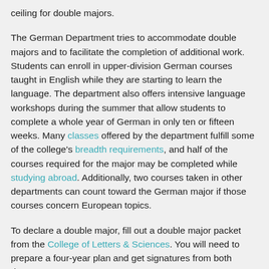ceiling for double majors.
The German Department tries to accommodate double majors and to facilitate the completion of additional work. Students can enroll in upper-division German courses taught in English while they are starting to learn the language. The department also offers intensive language workshops during the summer that allow students to complete a whole year of German in only ten or fifteen weeks. Many classes offered by the department fulfill some of the college's breadth requirements, and half of the courses required for the major may be completed while studying abroad. Additionally, two courses taken in other departments can count toward the German major if those courses concern European topics.
To declare a double major, fill out a double major packet from the College of Letters & Sciences. You will need to prepare a four-year plan and get signatures from both departments.
Please consult Nadia Samadi (Undergraduate Student Adviser) if you are interested in pursuing a double major, and for further information.